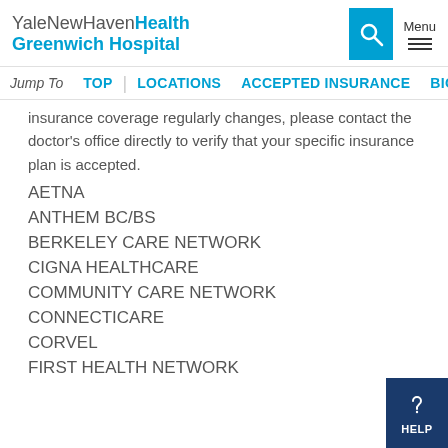YaleNewHavenHealth Greenwich Hospital
Jump To  TOP  |  LOCATIONS  ACCEPTED INSURANCE  BIOGRAP
insurance coverage regularly changes, please contact the doctor's office directly to verify that your specific insurance plan is accepted.
AETNA
ANTHEM BC/BS
BERKELEY CARE NETWORK
CIGNA HEALTHCARE
COMMUNITY CARE NETWORK
CONNECTICARE
CORVEL
FIRST HEALTH NETWORK